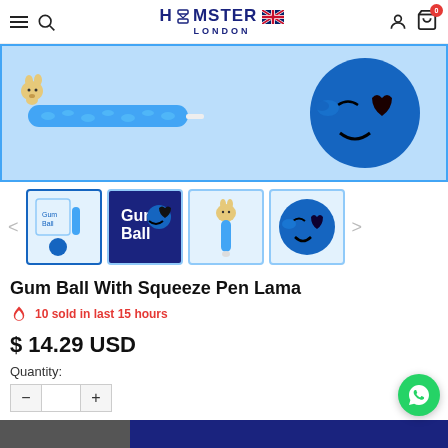Hamster London — navigation header with hamburger menu, search, brand logo, user account, and cart (0)
[Figure (photo): Main product image showing a blue textured squeeze pen (llama shape) and a blue emoji ball with kiss face, on blue background with border]
[Figure (photo): Thumbnail row: 1) product box with pen and ball, 2) Gum Ball box packaging, 3) blue llama squeeze pen, 4) blue emoji kiss ball]
Gum Ball With Squeeze Pen Lama
10 sold in last 15 hours
$ 14.29 USD
Quantity: